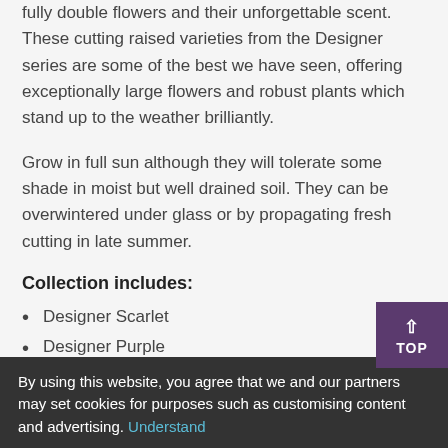fully double flowers and their unforgettable scent. These cutting raised varieties from the Designer series are some of the best we have seen, offering exceptionally large flowers and robust plants which stand up to the weather brilliantly.
Grow in full sun although they will tolerate some shade in moist but well drained soil. They can be overwintered under glass or by propagating fresh cutting in late summer.
Collection includes:
Designer Scarlet
Designer Purple
Designer White
Height 10in (24i...
Plant Class: Ha[rdiness...]
By using this website, you agree that we and our partners may set cookies for purposes such as customising content and advertising. Understand